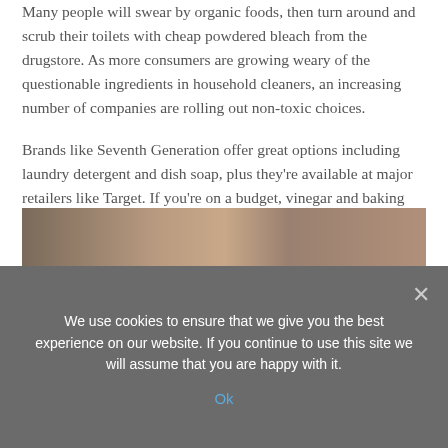Many people will swear by organic foods, then turn around and scrub their toilets with cheap powdered bleach from the drugstore. As more consumers are growing weary of the questionable ingredients in household cleaners, an increasing number of companies are rolling out non-toxic choices.
Brands like Seventh Generation offer great options including laundry detergent and dish soap, plus they're available at major retailers like Target. If you're on a budget, vinegar and baking soda are your best friends. On their own or combined, these two pantry staples are powerhouse cleaning products and can tackle some of the toughest spots in your home.
Embrace clean beauty products
[Figure (photo): Partial photo strip showing beauty products, partially cut off at bottom of page]
We use cookies to ensure that we give you the best experience on our website. If you continue to use this site we will assume that you are happy with it.
Ok